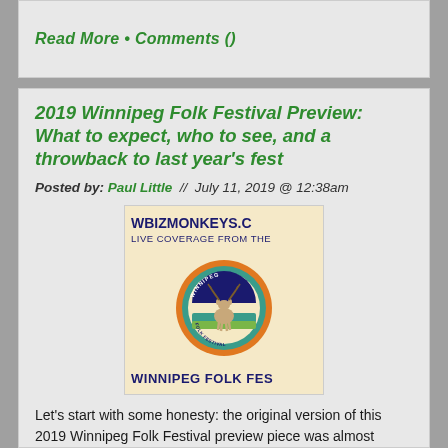Read More  •  Comments ()
2019 Winnipeg Folk Festival Preview: What to expect, who to see, and a throwback to last year's fest
Posted by: Paul Little  //  July 11, 2019 @ 12:38am
[Figure (illustration): WBIZMONKEYS.C LIVE COVERAGE FROM THE Winnipeg Folk Festival logo with a deer/stag illustration in an orange and teal circular badge. WINNIPEG FOLK FES]
Let's start with some honesty: the original version of this 2019 Winnipeg Folk Festival preview piece was almost complete when a couple accidental clicks of the mouse sent hours of work into the digital ether.
Read More  •  Comments ()